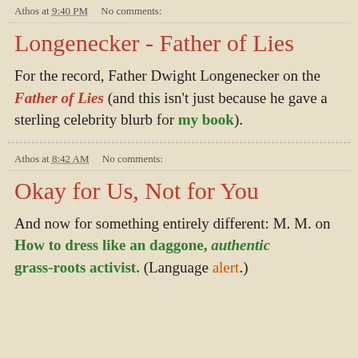Athos at 9:40 PM    No comments:
Longenecker - Father of Lies
For the record, Father Dwight Longenecker on the Father of Lies (and this isn't just because he gave a sterling celebrity blurb for my book).
Athos at 8:42 AM    No comments:
Okay for Us, Not for You
And now for something entirely different: M. M. on How to dress like an daggone, authentic grass-roots activist. (Language alert.)